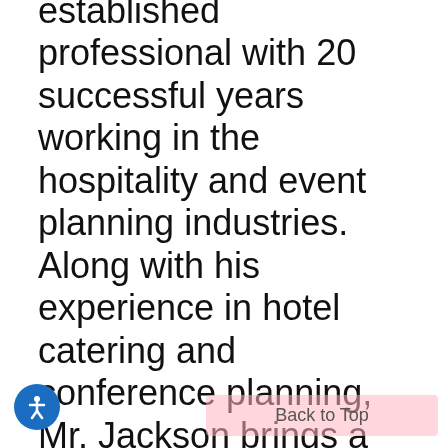established professional with 20 successful years working in the hospitality and event planning industries. Along with his experience in hotel catering and conference planning, Mr. Jackson brings a strong design background and training in interior architecture that infuse his events with